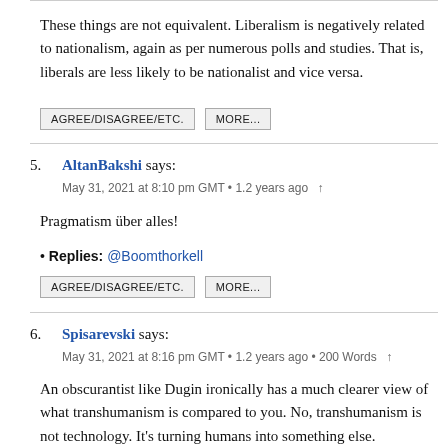These things are not equivalent. Liberalism is negatively related to nationalism, again as per numerous polls and studies. That is, liberals are less likely to be nationalist and vice versa.
AGREE/DISAGREE/ETC.   MORE...
5. AltanBakshi says: May 31, 2021 at 8:10 pm GMT • 1.2 years ago ↑
Pragmatism über alles!
• Replies: @Boomthorkell
AGREE/DISAGREE/ETC.   MORE...
6. Spisarevski says: May 31, 2021 at 8:16 pm GMT • 1.2 years ago • 200 Words ↑
An obscurantist like Dugin ironically has a much clearer view of what transhumanism is compared to you. No, transhumanism is not technology. It's turning humans into something else.